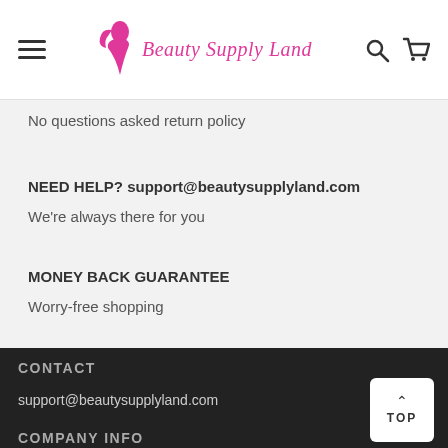Beauty Supply Land
No questions asked return policy
NEED HELP? support@beautysupplyland.com
We're always there for you
MONEY BACK GUARANTEE
Worry-free shopping
CONTACT
support@beautysupplyland.com
COMPANY INFO